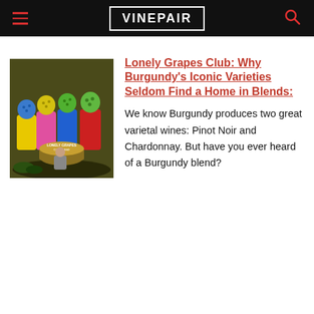VINEPAIR
[Figure (illustration): Parody of Sgt. Pepper's Lonely Hearts Club Band album cover, with figures whose heads are replaced by grapes/fruit, titled 'Lonely Grapes Club Band']
Lonely Grapes Club: Why Burgundy's Iconic Varieties Seldom Find a Home in Blends:
We know Burgundy produces two great varietal wines: Pinot Noir and Chardonnay. But have you ever heard of a Burgundy blend?